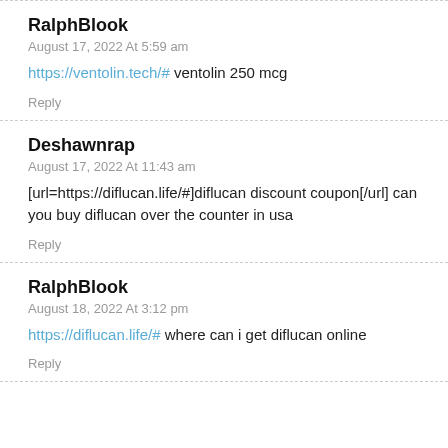RalphBlook
August 17, 2022 At 5:59 am
https://ventolin.tech/# ventolin 250 mcg
Reply
Deshawnrap
August 17, 2022 At 11:43 am
[url=https://diflucan.life/#]diflucan discount coupon[/url] can you buy diflucan over the counter in usa
Reply
RalphBlook
August 18, 2022 At 3:12 pm
https://diflucan.life/# where can i get diflucan online
Reply